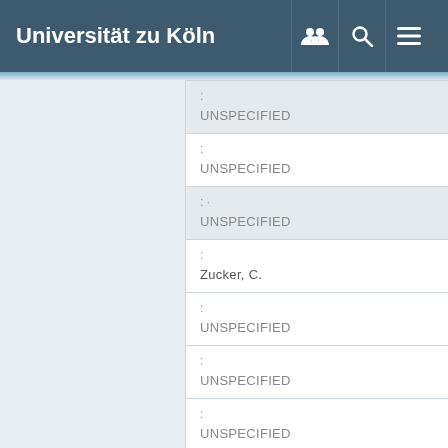Universität zu Köln
| label | value |
| --- | --- |
| : | UNSPECIFIED |
| : | UNSPECIFIED |
| : · | UNSPECIFIED |
| : | Zucker, C. |
| : | UNSPECIFIED |
| : | UNSPECIFIED |
| : | UNSPECIFIED |
| : |  |